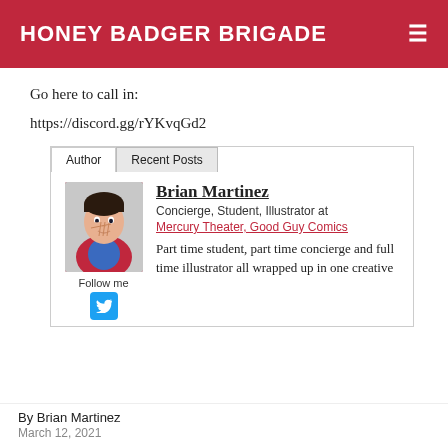HONEY BADGER BRIGADE
Go here to call in:
https://discord.gg/rYKvqGd2
[Figure (illustration): Author bio card with tabs labeled 'Author' and 'Recent Posts'. Contains a cartoon illustration of Brian Martinez, 'Follow me' text, a Twitter button, and bio text: 'Concierge, Student, Illustrator at Mercury Theater, Good Guy Comics. Part time student, part time concierge and full time illustrator all wrapped up in one creative']
By Brian Martinez
March 12, 2021